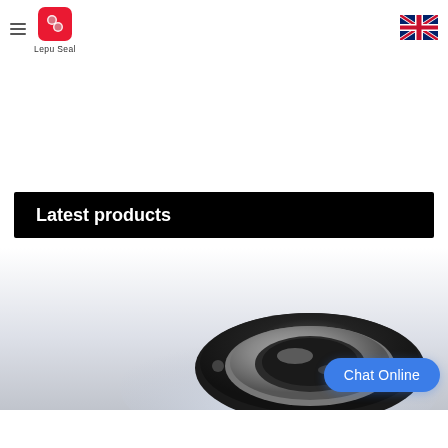Lepu Seal
Latest products
[Figure (photo): Industrial mechanical seal component - dark metal ring with chrome/silver metallic parts visible at bottom of frame]
Chat Online